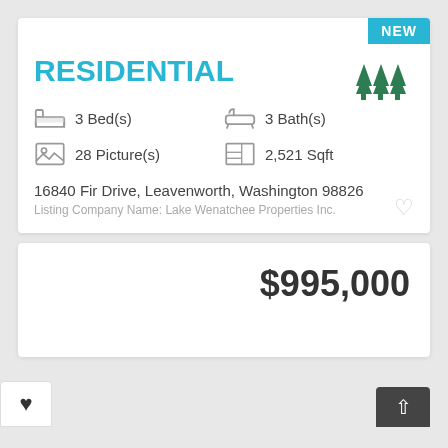NEW
RESIDENTIAL
3 Bed(s)
3 Bath(s)
28 Picture(s)
2,521 Sqft
16840 Fir Drive, Leavenworth, Washington 98826
Listing Company Name: Lake Wenatchee Properties Inc.
$995,000